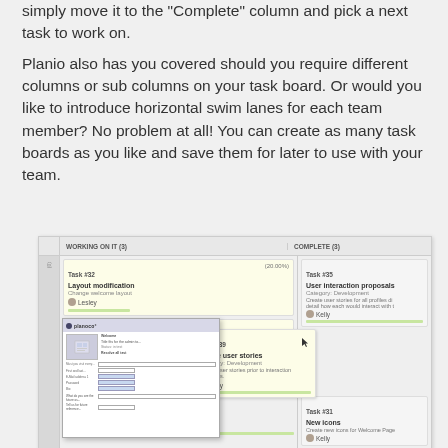simply move it to the "Complete" column and pick a next task to work on.
Planio also has you covered should you require different columns or sub columns on your task board. Or would you like to introduce horizontal swim lanes for each team member? No problem at all! You can create as many task boards as you like and save them for later to use with your team.
[Figure (screenshot): Screenshot of a Kanban task board interface showing 'WORKING ON IT (3)' and 'COMPLETE (3)' columns. Task cards visible include Task #32 Layout modification, Task #38 Discuss layouts with client, Task #39 Create user stories, Task #35 User interaction proposals, and Task #31 New icons. An inner screenshot of a form/detail view is overlaid on the board.]